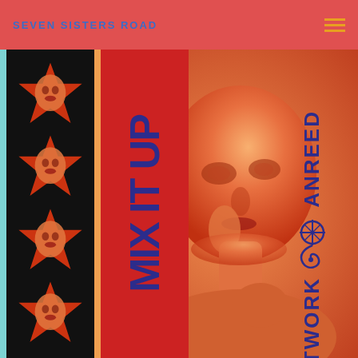SEVEN SISTERS ROAD
[Figure (illustration): Album cover for 'Mix It Up' by Anreed Network. Features a black left panel with orange stars and faces, a red center band with vertical text 'MIX IT UP' in bold blue, a main orange-tinted photo of a person, and blue vertical text on the right reading 'ANREED NETWORK' with a decorative logo symbol. Teal accent borders on left and right sides.]